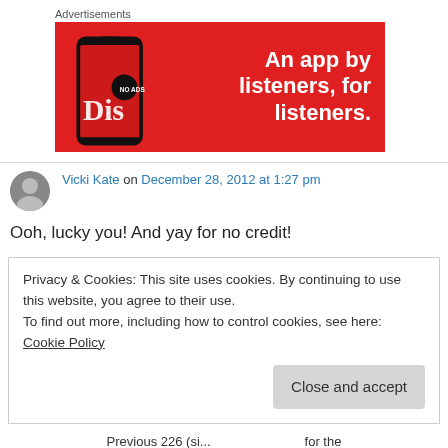Advertisements
[Figure (illustration): Red advertisement banner for a podcast/music app with text 'An app by listeners, for listeners.' and a smartphone showing the app interface on the left side.]
Vicki Kate on December 28, 2012 at 1:27 pm
Ooh, lucky you! And yay for no credit!
Privacy & Cookies: This site uses cookies. By continuing to use this website, you agree to their use.
To find out more, including how to control cookies, see here: Cookie Policy
Close and accept
Previous 226 (si...